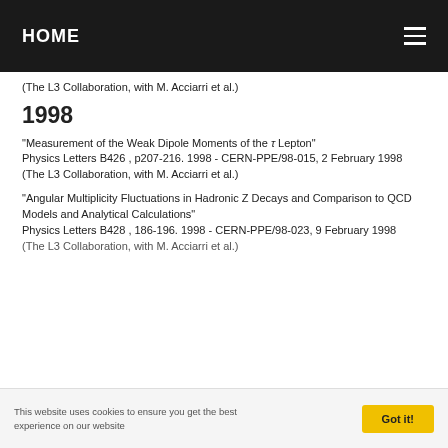HOME
(The L3 Collaboration, with M. Acciarri et al.)
1998
"Measurement of the Weak Dipole Moments of the τ Lepton"
Physics Letters B426 , p207-216. 1998 - CERN-PPE/98-015, 2 February 1998
(The L3 Collaboration, with M. Acciarri et al.)
"Angular Multiplicity Fluctuations in Hadronic Z Decays and Comparison to QCD Models and Analytical Calculations"
Physics Letters B428 , 186-196. 1998 - CERN-PPE/98-023, 9 February 1998
(The L3 Collaboration, with M. Acciarri et al.)
This website uses cookies to ensure you get the best experience on our website